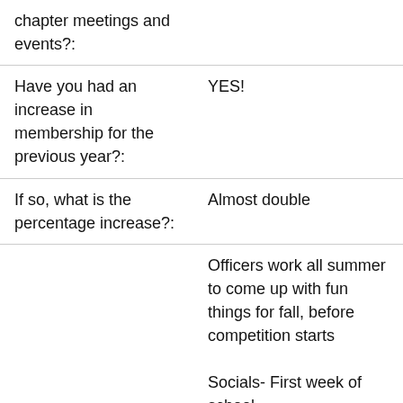| chapter meetings and events?: |  |
| Have you had an increase in membership for the previous year?: | YES! |
| If so, what is the percentage increase?: | Almost double |
|  | Officers work all summer to come up with fun things for fall, before competition starts
Socials- First week of school, |